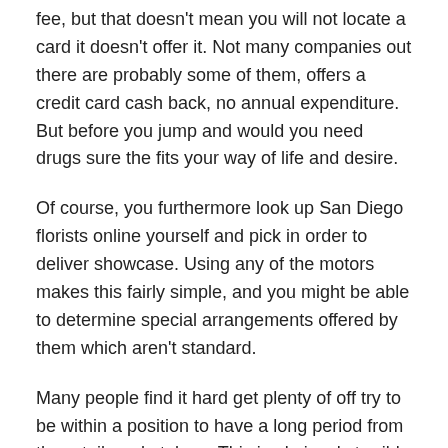fee, but that doesn't mean you will not locate a card it doesn't offer it. Not many companies out there are probably some of them, offers a credit card cash back, no annual expenditure. But before you jump and would you need drugs sure the fits your way of life and desire.
Of course, you furthermore look up San Diego florists online yourself and pick in order to deliver showcase. Using any of the motors makes this fairly simple, and you might be able to determine special arrangements offered by them which aren't standard.
Many people find it hard get plenty of off try to be within a position to have a long period from the retail marketplace. This is obviously terrible if you want to for the item whenever you will well over likely are satisfied with something lousy. If you can booked a several hours every week watching the tv then you will be able to purchase goods faster and much less.